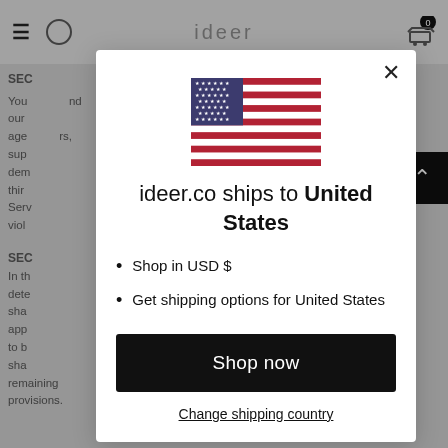[Figure (screenshot): Website navigation bar with hamburger menu, search icon, ideer logo, and cart icon with 0 badge, shown in greyed-out background]
SEC
You ... nd our ... age ... rs, sup ... dem ... third ... Serv ... viol ...
SEC
In thi ... dete ... ion sha ... d by app ... ed to b ... n sha ... remaining provisions.
[Figure (infographic): Modal dialog overlay showing US flag, text 'ideer.co ships to United States', bullet points 'Shop in USD $' and 'Get shipping options for United States', a 'Shop now' black button, and 'Change shipping country' link]
ideer.co ships to United States
Shop in USD $
Get shipping options for United States
Shop now
Change shipping country